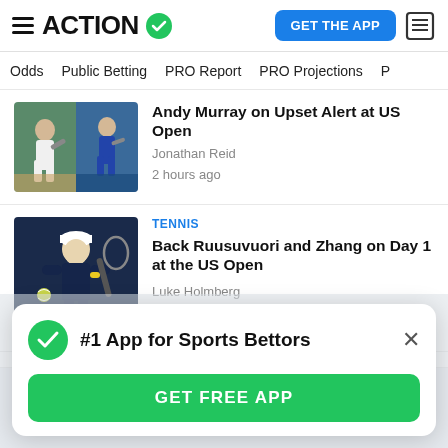ACTION | GET THE APP
Odds | Public Betting | PRO Report | PRO Projections
[Figure (photo): Photo of Andy Murray playing tennis at US Open]
Andy Murray on Upset Alert at US Open
Jonathan Reid
2 hours ago
[Figure (photo): Tennis player Emil Ruusuvuori hitting backhand at US Open wearing dark blue outfit and white cap]
TENNIS
Back Ruusuvuori and Zhang on Day 1 at the US Open
Luke Holmberg
3 hours ago
#1 App for Sports Bettors
GET FREE APP